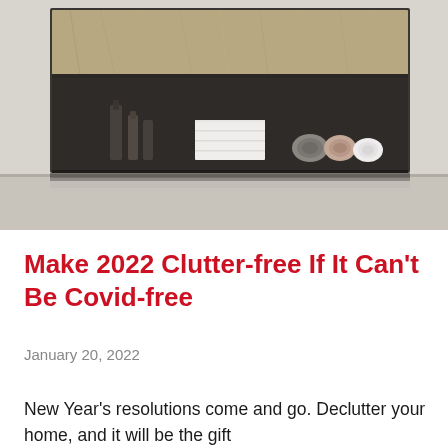[Figure (photo): A wall-mounted bathroom cabinet with a wood-grain drawer on top and an open shelf below. The shelf contains glass bottles/perfume on the left, a stack of white folded towels in the center, and rolled gray and white towels on the right. The background is a light gray wall and floor.]
Make 2022 Clutter-free If It Can’t Be Covid-free
January 20, 2022
New Year’s resolutions come and go. Declutter your home, and it will be the gift